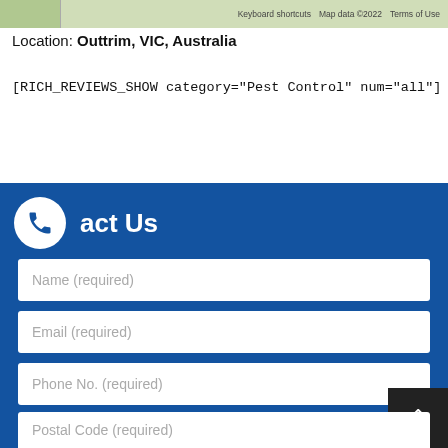[Figure (screenshot): Map thumbnail area with keyboard shortcuts and map data copyright notice]
Location: Outtrim, VIC, Australia
[RICH_REVIEWS_SHOW category="Pest Control" num="all"]
act Us
Name (required)
Email (required)
Phone No. (required)
Location (required)
Postal Code (required)